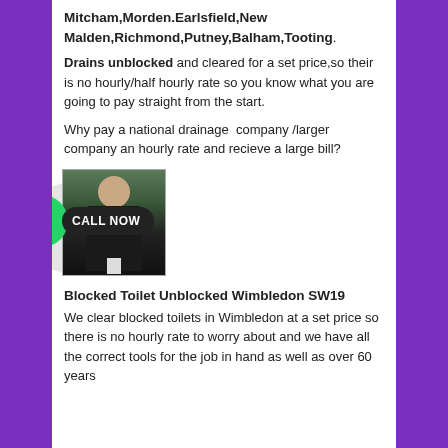Mitcham,Morden.Earlsfield,New Malden,Richmond,Putney,Balham,Tooting.
Drains unblocked and cleared for a set price,so their is no hourly/half hourly rate so you know what you are going to pay straight from the start.
Why pay a national drainage  company /larger company an hourly rate and recieve a large bill?
[Figure (photo): Photo of a person in a dark jacket with white collar, alongside a WhatsApp CALL NOW button overlay]
Blocked Toilet Unblocked Wimbledon SW19
We clear blocked toilets in Wimbledon at a set price so there is no hourly rate to worry about and we have all the correct tools for the job in hand as well as over 60 years